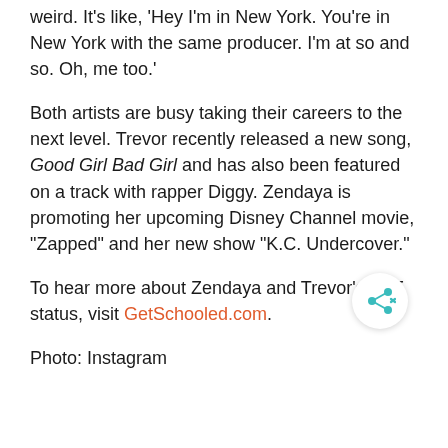weird. It’s like, ‘Hey I’m in New York. You’re in New York with the same producer. I’m at so and so. Oh, me too.’
Both artists are busy taking their careers to the next level. Trevor recently released a new song, Good Girl Bad Girl and has also been featured on a track with rapper Diggy. Zendaya is promoting her upcoming Disney Channel movie, “Zapped” and her new show “K.C. Undercover.”
To hear more about Zendaya and Trevor’s BFF status, visit GetSchooled.com.
Photo: Instagram